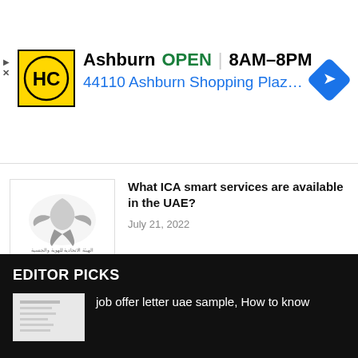[Figure (screenshot): Advertisement banner for HC store in Ashburn showing logo, OPEN status, hours 8AM-8PM, address 44110 Ashburn Shopping Plaza 190 A, and blue navigation diamond icon]
What ICA smart services are available in the UAE?
July 21, 2022
How many types of recruitment agency to dubai?
July 11, 2022
EDITOR PICKS
job offer letter uae sample, How to know